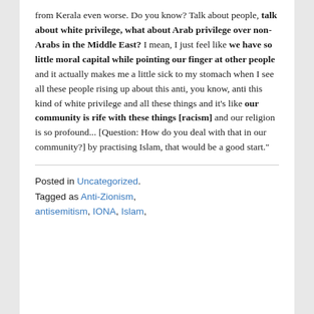from Kerala even worse. Do you know? Talk about people, talk about white privilege, what about Arab privilege over non-Arabs in the Middle East? I mean, I just feel like we have so little moral capital while pointing our finger at other people and it actually makes me a little sick to my stomach when I see all these people rising up about this anti, you know, anti this kind of white privilege and all these things and it's like our community is rife with these things [racism] and our religion is so profound... [Question: How do you deal with that in our community?] by practising Islam, that would be a good start."
Posted in Uncategorized. Tagged as Anti-Zionism, antisemitism, IONA, Islam,